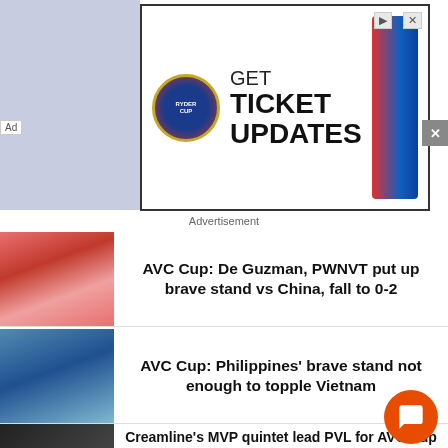[Figure (photo): Ryder Cup advertisement banner: GET TICKET UPDATES with two golfers and Ryder Cup logo]
Advertisement
[Figure (photo): Volleyball players in red uniforms celebrating/huddle]
AVC Cup: De Guzman, PWNVT put up brave stand vs China, fall to 0-2
[Figure (photo): Volleyball player number 15 setting a ball near the net]
AVC Cup: Philippines' brave stand not enough to topple Vietnam
[Figure (photo): Group of smiling volleyball players in uniform, numbers 15 and 18 visible]
Creamline's MVP quintet lead PVL for AVC Cup